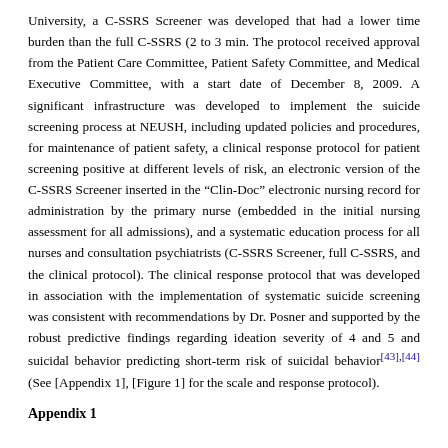University, a C-SSRS Screener was developed that had a lower time burden than the full C-SSRS (2 to 3 min. The protocol received approval from the Patient Care Committee, Patient Safety Committee, and Medical Executive Committee, with a start date of December 8, 2009. A significant infrastructure was developed to implement the suicide screening process at NEUSH, including updated policies and procedures, for maintenance of patient safety, a clinical response protocol for patient screening positive at different levels of risk, an electronic version of the C-SSRS Screener inserted in the “Clin-Doc” electronic nursing record for administration by the primary nurse (embedded in the initial nursing assessment for all admissions), and a systematic education process for all nurses and consultation psychiatrists (C-SSRS Screener, full C-SSRS, and the clinical protocol). The clinical response protocol that was developed in association with the implementation of systematic suicide screening was consistent with recommendations by Dr. Posner and supported by the robust predictive findings regarding ideation severity of 4 and 5 and suicidal behavior predicting short-term risk of suicidal behavior[43],[44] (See [Appendix 1], [Figure 1] for the scale and response protocol).
Appendix 1